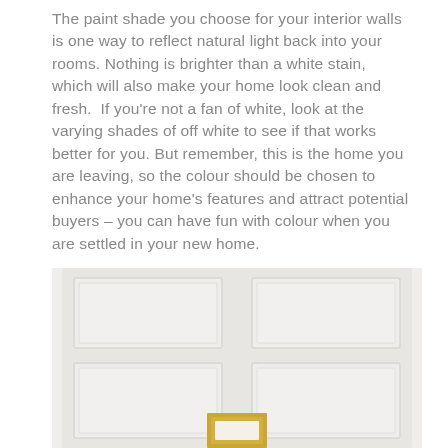The paint shade you choose for your interior walls is one way to reflect natural light back into your rooms. Nothing is brighter than a white stain, which will also make your home look clean and fresh.  If you're not a fan of white, look at the varying shades of off white to see if that works better for you. But remember, this is the home you are leaving, so the colour should be chosen to enhance your home's features and attract potential buyers – you can have fun with colour when you are settled in your new home.
[Figure (photo): Photo of a white panelled door/wall interior with a small gold-framed picture at the bottom center, and a WhatsApp logo badge overlay in the bottom right corner.]